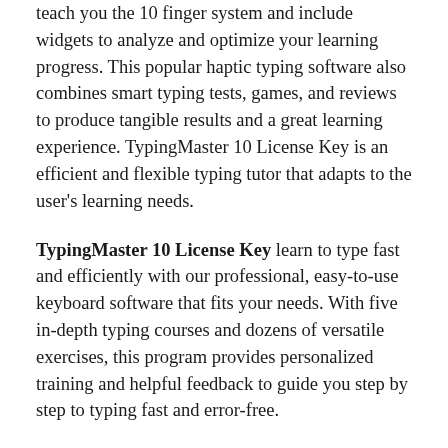teach you the 10 finger system and include widgets to analyze and optimize your learning progress. This popular haptic typing software also combines smart typing tests, games, and reviews to produce tangible results and a great learning experience. TypingMaster 10 License Key is an efficient and flexible typing tutor that adapts to the user's learning needs.
TypingMaster 10 License Key learn to type fast and efficiently with our professional, easy-to-use keyboard software that fits your needs. With five in-depth typing courses and dozens of versatile exercises, this program provides personalized training and helpful feedback to guide you step by step to typing fast and error-free.
Exercises tailored to your progress and weaknesses are quickly identified and eliminated with revised exercises. Thanks to TypingMaster’s Activation Code personal